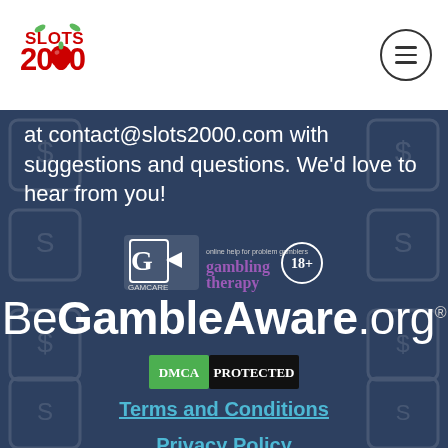[Figure (logo): Slots 2000 logo with fruit and leaves]
[Figure (other): Hamburger menu icon in circle]
at contact@slots2000.com with suggestions and questions. We'd love to hear from you!
[Figure (logo): GamCare logo, Gambling Therapy logo, 18+ circle badge]
[Figure (logo): BeGambleAware.org logo with registered trademark]
[Figure (logo): DMCA Protected badge]
Terms and Conditions
Privacy Policy
Cookie Policy
Responsible Gambling